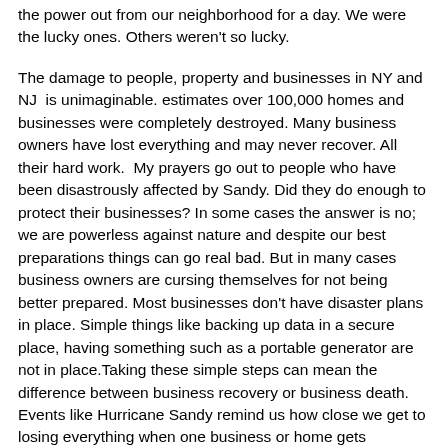the power out from our neighborhood for a day. We were the lucky ones. Others weren't so lucky.
The damage to people, property and businesses in NY and NJ is unimaginable. estimates over 100,000 homes and businesses were completely destroyed. Many business owners have lost everything and may never recover. All their hard work. My prayers go out to people who have been disastrously affected by Sandy. Did they do enough to protect their businesses? In some cases the answer is no; we are powerless against nature and despite our best preparations things can go real bad. But in many cases business owners are cursing themselves for not being better prepared. Most businesses don't have disaster plans in place. Simple things like backing up data in a secure place, having something such as a portable generator are not in place.Taking these simple steps can mean the difference between business recovery or business death.
Events like Hurricane Sandy remind us how close we get to losing everything when one business or home gets destroyed and another doesn't. Yet many of us go through life without really considering what we can do to protect our family, home and business from disaster. We live in an information age and our life is practically a collection of data. Unlike paper copies most of our information is now stored in electronic format. Now if we were lucky enough to escape unscathed from Sandy to take a look at what is important to us and how to safeguard it. Do we have all our important documents in a safe place?